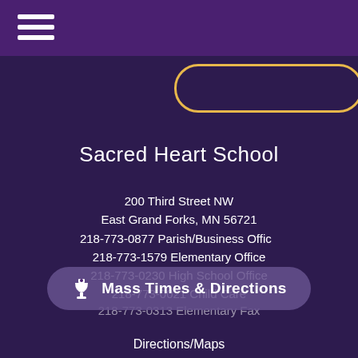[Figure (illustration): Hamburger menu icon (three white horizontal bars) in top-left corner of purple header bar]
[Figure (illustration): Gold/yellow rounded rectangle button outline visible at top right, partially cropped]
Sacred Heart School
200 Third Street NW
East Grand Forks, MN 56721
218-773-0877 Parish/Business Office
218-773-1579 Elementary Office
218-773-0230 High School Office
218-773-0021 Child Care
218-773-0313 Elementary Fax
[Figure (illustration): Mass Times & Directions button with chalice icon, rounded rectangle in semi-transparent purple]
Directions/Maps